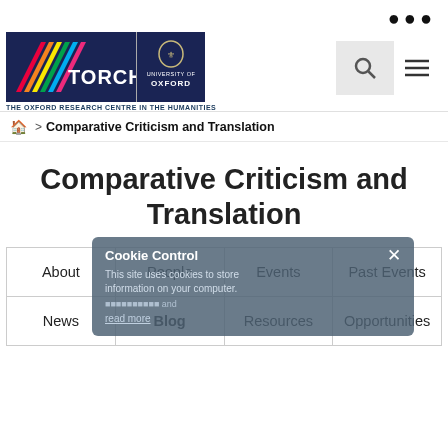[Figure (logo): TORCH - The Oxford Research Centre in the Humanities logo alongside University of Oxford logo]
🏠 > Comparative Criticism and Translation
Comparative Criticism and Translation
| About | People | Events | Past Events |
| --- | --- | --- | --- |
| News | Blog | Resources | Opportunities |
Cookie Control × This site uses cookies to store information on your computer. read more